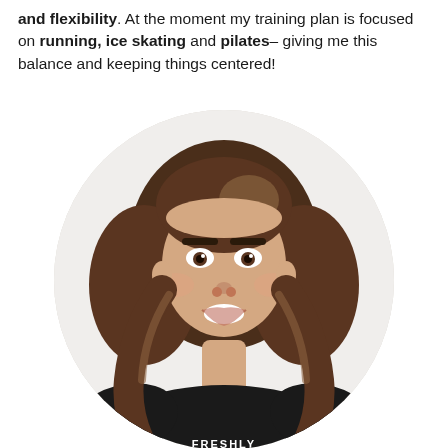and flexibility. At the moment my training plan is focused on running, ice skating and pilates– giving me this balance and keeping things centered!
[Figure (photo): Circular portrait photo of a young woman with shoulder-length wavy brown hair, smiling, wearing a black t-shirt with 'FRESHLY' text, against a light gray/white background.]